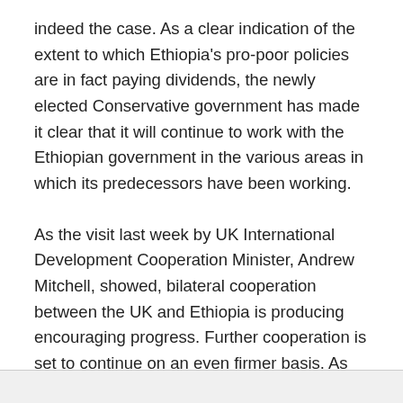indeed the case. As a clear indication of the extent to which Ethiopia's pro-poor policies are in fact paying dividends, the newly elected Conservative government has made it clear that it will continue to work with the Ethiopian government in the various areas in which its predecessors have been working.
As the visit last week by UK International Development Cooperation Minister, Andrew Mitchell, showed, bilateral cooperation between the UK and Ethiopia is producing encouraging progress. Further cooperation is set to continue on an even firmer basis. As the Minister himself indicated, the UK's development cooperation with Ethiopia will continue to grow, despite the current financial crisis facing the UK, simply because Ethiopia's pro-poor policies